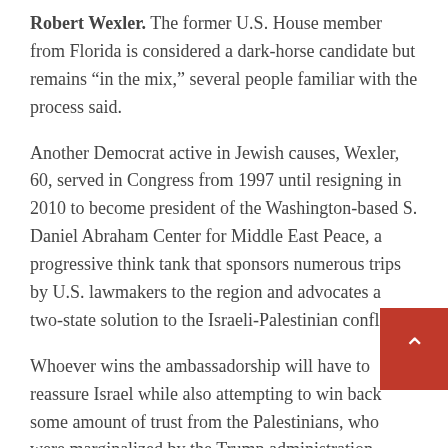Robert Wexler. The former U.S. House member from Florida is considered a dark-horse candidate but remains “in the mix,” several people familiar with the process said.
Another Democrat active in Jewish causes, Wexler, 60, served in Congress from 1997 until resigning in 2010 to become president of the Washington-based S. Daniel Abraham Center for Middle East Peace, a progressive think tank that sponsors numerous trips by U.S. lawmakers to the region and advocates a two-state solution to the Israeli-Palestinian conflict.
Whoever wins the ambassadorship will have to reassure Israel while also attempting to win back some amount of trust from the Palestinians, who were marginalized by the Trump administration. Already, Biden has started to reverse some of Trump’s punitive measures against Palestinians by reinstating millions of dollars in aid restating a commitment to an eventual formation of an independent Palestinian state, which Trump refused to